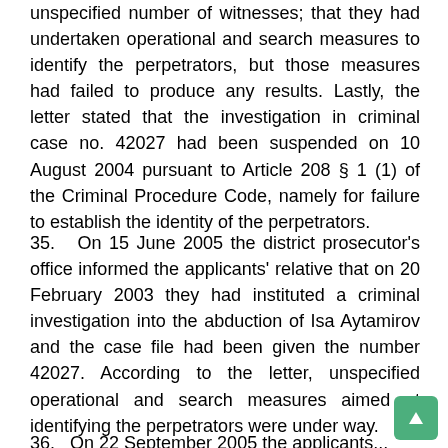unspecified number of witnesses; that they had undertaken operational and search measures to identify the perpetrators, but those measures had failed to produce any results. Lastly, the letter stated that the investigation in criminal case no. 42027 had been suspended on 10 August 2004 pursuant to Article 208 § 1 (1) of the Criminal Procedure Code, namely for failure to establish the identity of the perpetrators.
35.  On 15 June 2005 the district prosecutor's office informed the applicants' relative that on 20 February 2003 they had instituted a criminal investigation into the abduction of Isa Aytamirov and the case file had been given the number 42027. According to the letter, unspecified operational and search measures aimed at identifying the perpetrators were under way.
36.  On 22 September 2005 the applicants...